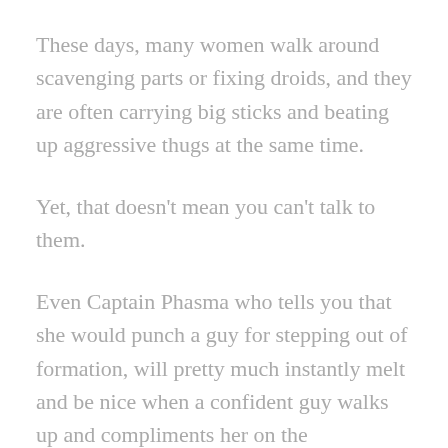These days, many women walk around scavenging parts or fixing droids, and they are often carrying big sticks and beating up aggressive thugs at the same time.
Yet, that doesn't mean you can't talk to them.
Even Captain Phasma who tells you that she would punch a guy for stepping out of formation, will pretty much instantly melt and be nice when a confident guy walks up and compliments her on the glimmering shine of her electrothermic armour.